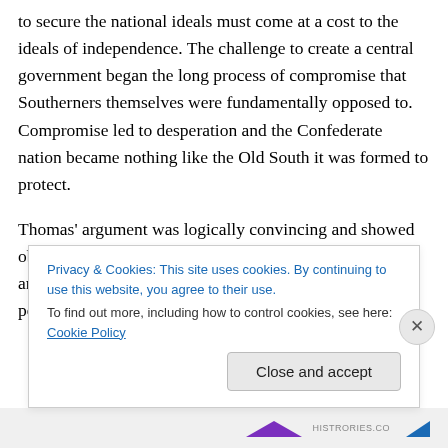to secure the national ideals must come at a cost to the ideals of independence. The challenge to create a central government began the long process of compromise that Southerners themselves were fundamentally opposed to. Compromise led to desperation and the Confederate nation became nothing like the Old South it was formed to protect.
Thomas' argument was logically convincing and showed obvious flaws in Southern political thinking of the 1850s and 60s. Pulling from solid evidence, Thomas argues his points for an intellectual audience well versed in the
Privacy & Cookies: This site uses cookies. By continuing to use this website, you agree to their use. To find out more, including how to control cookies, see here: Cookie Policy
histrories.co